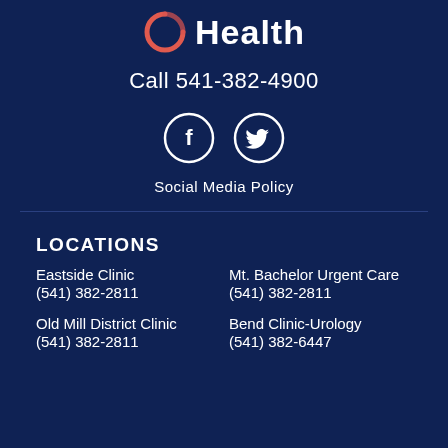[Figure (logo): Health organization logo with circular arc icon and 'Health' text in white on dark blue background]
Call 541-382-4900
[Figure (infographic): Social media icons: Facebook and Twitter circles with white icons on dark blue background]
Social Media Policy
LOCATIONS
Eastside Clinic
(541) 382-2811
Mt. Bachelor Urgent Care
(541) 382-2811
Old Mill District Clinic
(541) 382-2811
Bend Clinic-Urology
(541) 382-6447